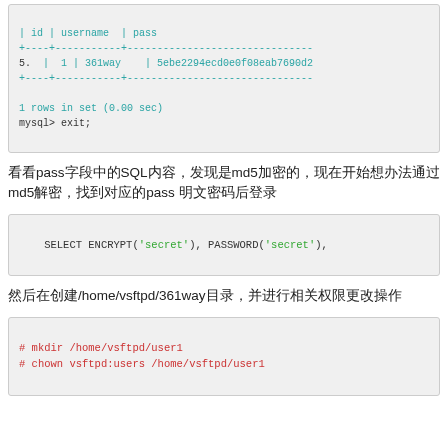[Figure (screenshot): Terminal output showing MySQL table with id, username, pass columns. Row 5 shows id=1, username=361way, pass=5ebe2294ecd0e0f08eab7690d2. Footer shows '1 rows in set (0.00 sec)' and 'mysql> exit;']
查看pass字段中的MySQL内容，发现是md5加密的，现在开始想办法通过md5解密，找到对应的pass 明文密码后登录
[Figure (screenshot): SQL code: SELECT ENCRYPT('secret'), PASSWORD('secret'),]
然后在创建/home/vsftpd/361way目录，并进行相关权限更改操作
[Figure (screenshot): Shell commands: # mkdir /home/vsftpd/user1
# chown vsftpd:users /home/vsftpd/user1]